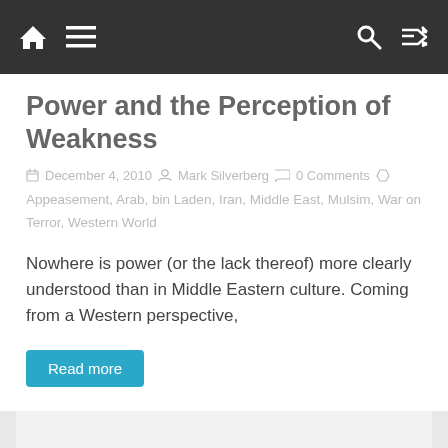Navigation bar with home, menu, search, and shuffle icons
Power and the Perception of Weakness
December 4, 2010   Mark Silverberg   0 Comments
Appeasement, Arab, bin Laden, Iran, Middle East, Mulsim, War on Terror, Western World
Nowhere is power (or the lack thereof) more clearly understood than in Middle Eastern culture. Coming from a Western perspective,
Read more